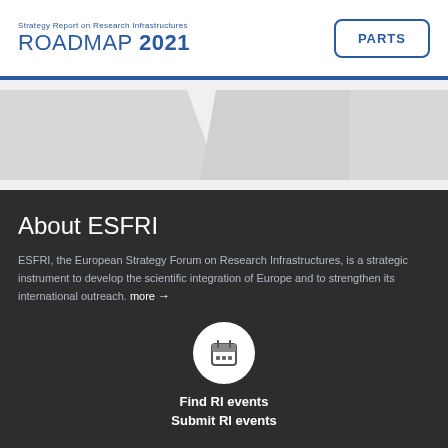Strategy Report on Research Infrastructures ROADMAP 2021 | PARTS
[Figure (photo): Partial view of a photograph showing people or figures, cropped at the top, with light gray placeholder shapes representing the image content.]
About ESFRI
ESFRI, the European Strategy Forum on Research Infrastructures, is a strategic instrument to develop the scientific integration of Europe and to strengthen its international outreach. more →
[Figure (infographic): White circle icon containing a calendar symbol on a dark background.]
Find RI events
Submit RI events